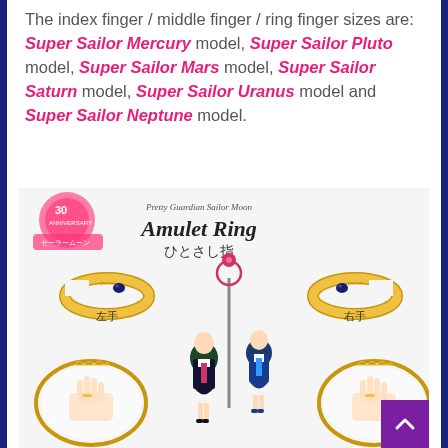The index finger / middle finger / ring finger sizes are: Super Sailor Mercury model, Super Sailor Pluto model, Super Sailor Mars model, Super Sailor Saturn model, Super Sailor Uranus model and Super Sailor Neptune model.
[Figure (photo): Product image for Pretty Guardian Sailor Moon 30th Anniversary Amulet Ring (ひとさし指 - index finger). Shows two gold open-band rings with blue gemstones, left hand (左手) and right hand (右手) variants. Below are two oval-framed hands wearing rings, with Sailor Moon anime characters (Sailor Pluto and Sailor Mercury) in the center. Includes 30th anniversary logo.]